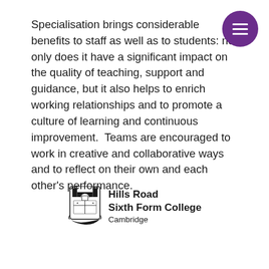Specialisation brings considerable benefits to staff as well as to students: not only does it have a significant impact on the quality of teaching, support and guidance, but it also helps to enrich working relationships and to promote a culture of learning and continuous improvement.  Teams are encouraged to work in creative and collaborative ways and to reflect on their own and each other's performance.
[Figure (logo): Hills Road Sixth Form College Cambridge crest logo with castle emblem and text]